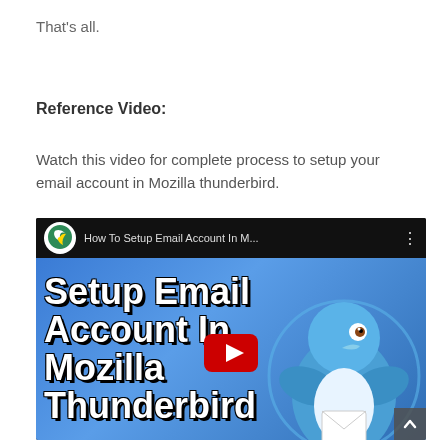That's all.
Reference Video:
Watch this video for complete process to setup your email account in Mozilla thunderbird.
[Figure (screenshot): YouTube video thumbnail showing 'How To Setup Email Account In M...' with large white text reading 'Setup Email Account In Mozilla Thunderbird' overlaid on a blue background with Mozilla Thunderbird bird mascot logo on the right side and a red YouTube play button in the center.]